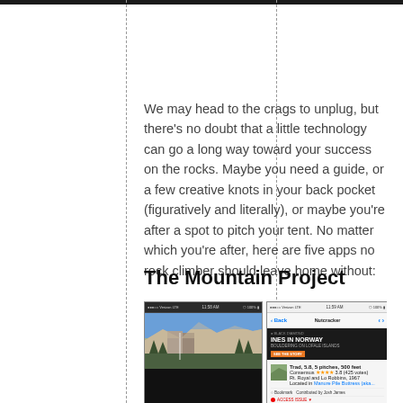We may head to the crags to unplug, but there's no doubt that a little technology can go a long way toward your success on the rocks. Maybe you need a guide, or a few creative knots in your back pocket (figuratively and literally), or maybe you're after a spot to pitch your tent. No matter which you're after, here are five apps no rock climber should leave home without:
The Mountain Project
[Figure (screenshot): Two mobile app screenshots of The Mountain Project app showing Yosemite valley photo and a route detail page for 'Nutcracker' with route info, Ines in Norway advertisement, bookmark option, and access issue warning.]